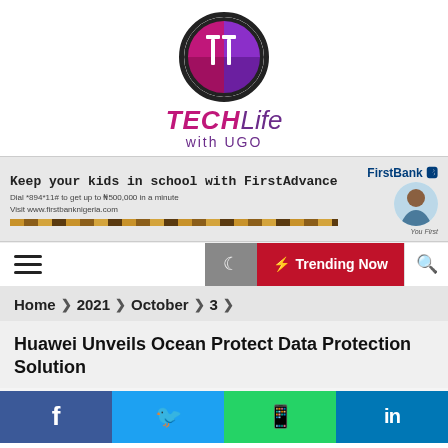[Figure (logo): TechLife with Ugo logo - circular logo with stylized T and text below]
[Figure (photo): FirstBank advertisement banner: Keep your kids in school with FirstAdvance]
Trending Now
Home > 2021 > October > 3 >
Huawei Unveils Ocean Protect Data Protection Solution
News  technology
[Figure (infographic): Social media share buttons: Facebook, Twitter, WhatsApp, LinkedIn]